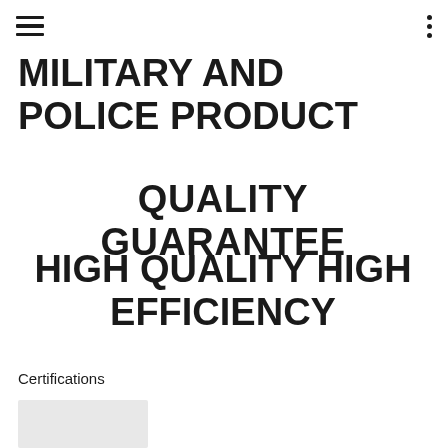MILITARY AND POLICE PRODUCT
QUALITY GUARANTEE
HIGH QUALITY HIGH EFFICIENCY
Certifications